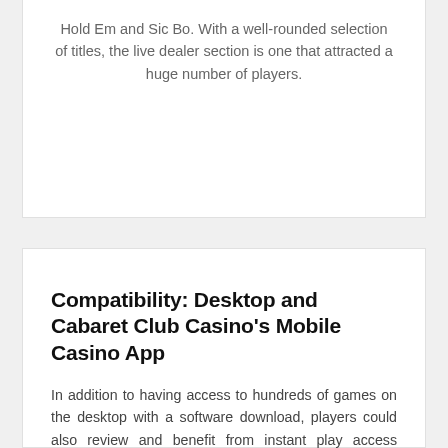Hold Em and Sic Bo. With a well-rounded selection of titles, the live dealer section is one that attracted a huge number of players.
Compatibility: Desktop and Cabaret Club Casino's Mobile Casino App
In addition to having access to hundreds of games on the desktop with a software download, players could also review and benefit from instant play access through a web browser. This could be reviewed and enjoyed on desktops as well as Android and Apple mobile phones, so there were always great ways to access the huge list of games that are provided. All games were reviewed and tested for fairness and there were new titles always being added, extending the desktop and mobile game portfolio.